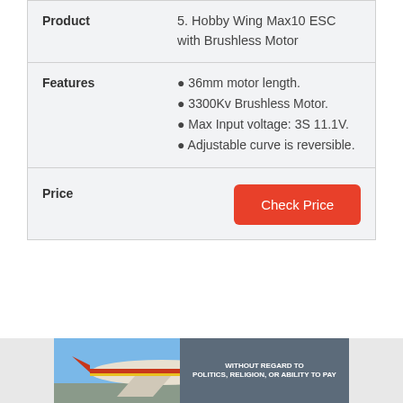|  |  |
| --- | --- |
| Product | 5. Hobby Wing Max10 ESC with Brushless Motor |
| Features | ● 36mm motor length.
● 3300Kv Brushless Motor.
● Max Input voltage: 3S 11.1V.
● Adjustable curve is reversible. |
| Price | Check Price |
[Figure (photo): Advertisement banner showing an airplane being loaded with cargo, with a dark overlay panel reading WITHOUT REGARD TO POLITICS, RELIGION, OR ABILITY TO PAY]